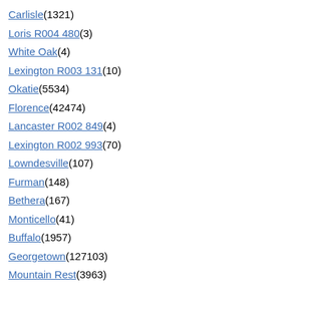Carlisle(1321)
Loris R004 480(3)
White Oak(4)
Lexington R003 131(10)
Okatie(5534)
Florence(42474)
Lancaster R002 849(4)
Lexington R002 993(70)
Lowndesville(107)
Furman(148)
Bethera(167)
Monticello(41)
Buffalo(1957)
Georgetown(127103)
Mountain Rest(3963)